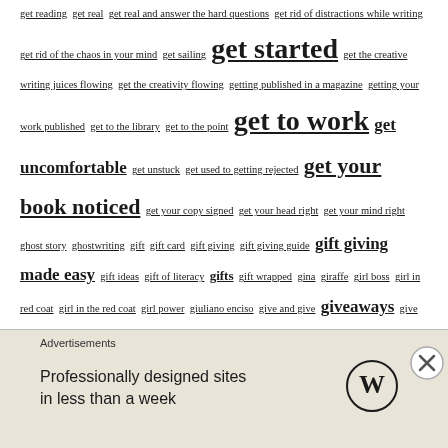get reading get real get real and answer the hard questions get rid of distractions while writing get rid of the chaos in your mind get sailing get started get the creative writing juices flowing get the creativity flowing getting published in a magazine getting your work published get to the library get to the point get to work get uncomfortable get unstuck get used to getting rejected get your book noticed get your copy signed get your head right get your mind right ghost story ghostwriting gift gift card gift giving gift giving guide gift giving made easy gift ideas gift of literacy gifts gift wrapped gina giraffe girl boss girl in red coat girl in the red coat girl power giuliano enciso give and give giveaways give back give me a chance to explain give thanks give the gift of literacy give your readers hope giving back giving back as an author giving to your community an author glad you did glitz global glorious and free glue goal goal getting goals goals as an author goal setting goals for the rest of the year goals in writing life Godfrey godfrey the super cat go digital go get it goldilocks and the three bears good good advice good and bad ideas good at one point good day good example goodies good listener good novel good or bad good plot lines goodreads good good... good... Google... google play
[Figure (other): Advertisement banner: 'Professionally designed sites in less than a week' with WordPress logo]